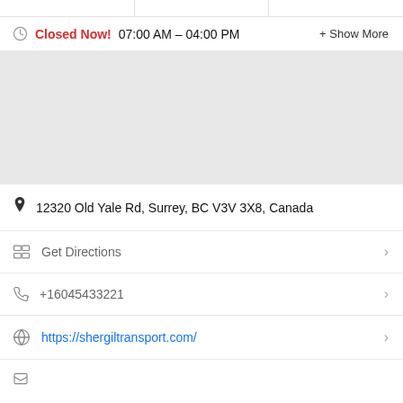Closed Now! 07:00 AM – 04:00 PM  + Show More
[Figure (map): Light grey map placeholder area]
12320 Old Yale Rd, Surrey, BC V3V 3X8, Canada
Get Directions
+16045433221
https://shergiltransport.com/
(partially visible row)